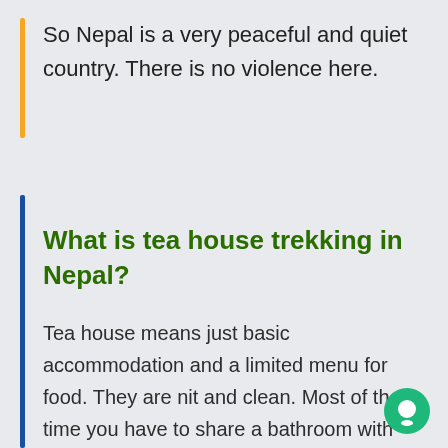So Nepal is a very peaceful and quiet country. There is no violence here.
What is tea house trekking in Nepal?
Tea house means just basic accommodation and a limited menu for food. They are nit and clean. Most of the time you have to share a bathroom with others. In the tea house trekkers have to walk around the 6-7 Hours, one